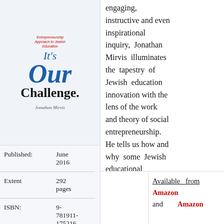[Figure (illustration): Book cover of 'It's Our Challenge: An Entrepreneurship Approach to Jewish Education' by Jonathan Mirvis. Shows stylized text with 'It's Our Challenge.' in blue serif font and author name below.]
| Label | Value |
| --- | --- |
| Published: | June 2016 |
| Extent | 292 pages |
| ISBN: | 9-781911-175216 |
engaging, instructive and even inspirational inquiry, Jonathan Mirvis illuminates the tapestry of Jewish education innovation with the lens of the work and theory of social entrepreneurship. He tells us how and why some Jewish educational innovators succeed and how to recognize the most promising ventures in the field. This
Available from Amazon and Amazon